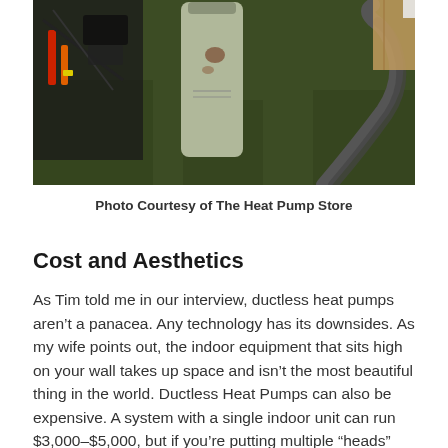[Figure (photo): Outdoor photo on grass showing equipment including a green/gray cylindrical tank/canister, black flexible hoses/tubing, and tools with red and orange handles, related to heat pump installation equipment.]
Photo Courtesy of The Heat Pump Store
Cost and Aesthetics
As Tim told me in our interview, ductless heat pumps aren't a panacea. Any technology has its downsides. As my wife points out, the indoor equipment that sits high on your wall takes up space and isn't the most beautiful thing in the world. Ductless Heat Pumps can also be expensive. A system with a single indoor unit can run $3,000–$5,000, but if you're putting multiple “heads” throughout your